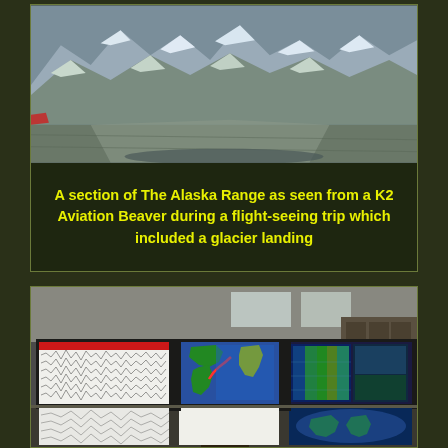[Figure (photo): Aerial photograph of a section of The Alaska Range showing snow-covered mountain peaks and glaciers, taken from a K2 Aviation Beaver aircraft during a flightseeing trip.]
A section of The Alaska Range as seen from a K2 Aviation Beaver during a flight-seeing trip which included a glacier landing
[Figure (photo): A person sitting at a multi-monitor workstation displaying various weather maps, seismograph data, and satellite imagery, in what appears to be a meteorological or geophysical control room.]